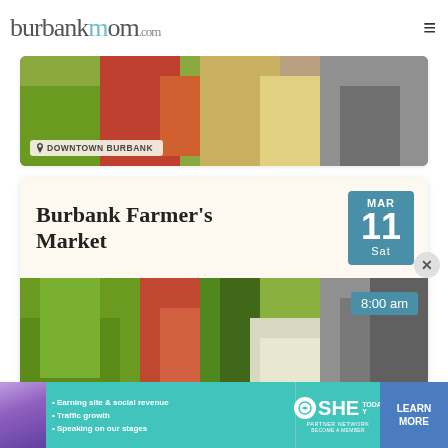burbankmom.com
[Figure (photo): Partial view of a farmer's market event card showing vegetables and DOWNTOWN BURBANK location label]
Burbank Farmer's Market
[Figure (photo): Photo of colorful fresh vegetables at a farmer's market including leafy greens, carrots, and cauliflower. Date badge shows MAR 11 Sat. Time badge shows 8:00 am. Location label shows DOWNTOWN BURBANK.]
[Figure (screenshot): SHE Partner Network advertisement banner with photo of woman, bullet points: Earning site & social revenue, Traffic growth, Speaking on our stages. Logo and LEARN MORE button.]